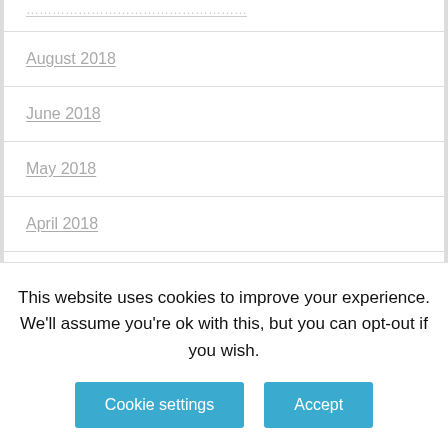…
August 2018
June 2018
May 2018
April 2018
March 2018
January 2018
December 2017
November 2017
This website uses cookies to improve your experience. We'll assume you're ok with this, but you can opt-out if you wish.
Cookie settings | Accept